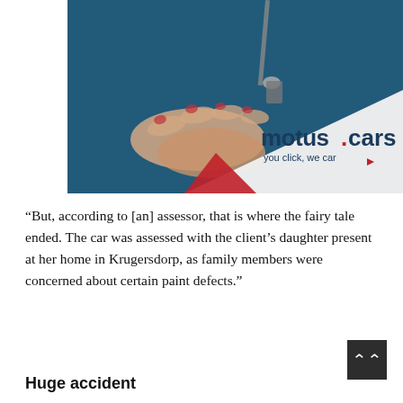[Figure (photo): A hand holding car keys against a dark blue background, with the motus.cars logo overlay (white diagonal band with red accent, text: motus.cars / you click, we car) in the lower right corner of the image.]
“But, according to [an] assessor, that is where the fairy tale ended. The car was assessed with the client’s daughter present at her home in Krugersdorp, as family members were concerned about certain paint defects.”
Huge accident